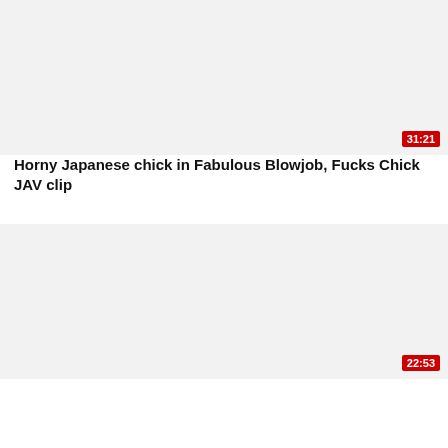[Figure (screenshot): Video thumbnail placeholder (light gray background) with a red duration badge showing 31:21 in the top card]
Horny Japanese chick in Fabulous Blowjob, Fucks Chick JAV clip
[Figure (screenshot): Video thumbnail placeholder (light gray background) with a red duration badge showing 22:53 in the bottom card]